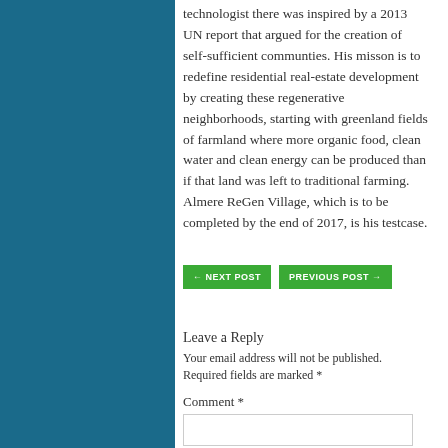technologist there was inspired by a 2013 UN report that argued for the creation of self-sufficient communties. His misson is to redefine residential real-estate development by creating these regenerative neighborhoods, starting with greenland fields of farmland where more organic food, clean water and clean energy can be produced than if that land was left to traditional farming. Almere ReGen Village, which is to be completed by the end of 2017, is his testcase.
← NEXT POST
PREVIOUS POST →
Leave a Reply
Your email address will not be published. Required fields are marked *
Comment *